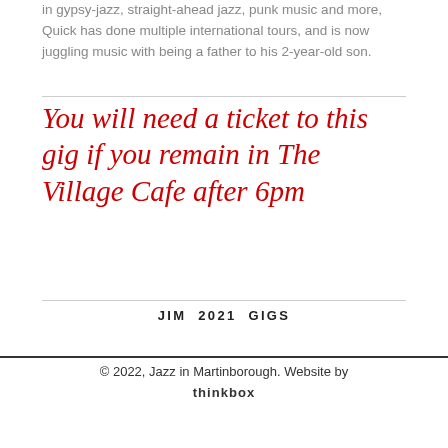in gypsy-jazz, straight-ahead jazz, punk music and more, Quick has done multiple international tours, and is now juggling music with being a father to his 2-year-old son.
You will need a ticket to this gig if you remain in The Village Cafe after 6pm
JIM 2021 GIGS
© 2022, Jazz in Martinborough. Website by thinkbox